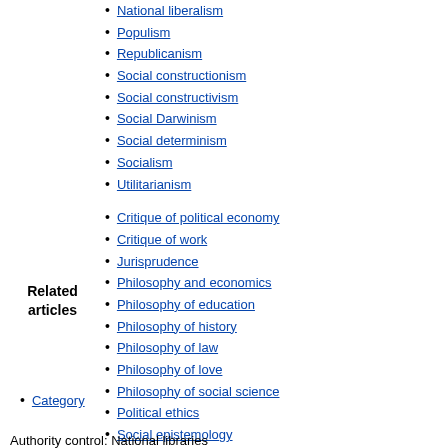National liberalism
Populism
Republicanism
Social constructionism
Social constructivism
Social Darwinism
Social determinism
Socialism
Utilitarianism
Critique of political economy
Critique of work
Jurisprudence
Philosophy and economics
Philosophy of education
Philosophy of history
Philosophy of law
Philosophy of love
Philosophy of social science
Political ethics
Social epistemology
Index
Related articles
Category
Authority control: National libraries